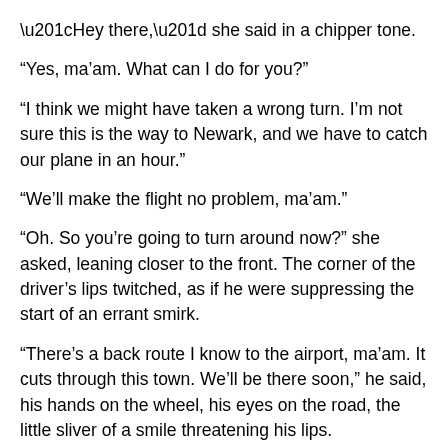“Hey there,” she said in a chipper tone.
“Yes, ma’am. What can I do for you?”
“I think we might have taken a wrong turn. I’m not sure this is the way to Newark, and we have to catch our plane in an hour.”
“We’ll make the flight no problem, ma’am.”
“Oh. So you’re going to turn around now?” she asked, leaning closer to the front. The corner of the driver’s lips twitched, as if he were suppressing the start of an errant smirk.
“There’s a back route I know to the airport, ma’am. It cuts through this town. We’ll be there soon,” he said, his hands on the wheel, his eyes on the road, the little sliver of a smile threatening his lips.
“If you say so,” she said, playfully. “How long till we reach the airport?”